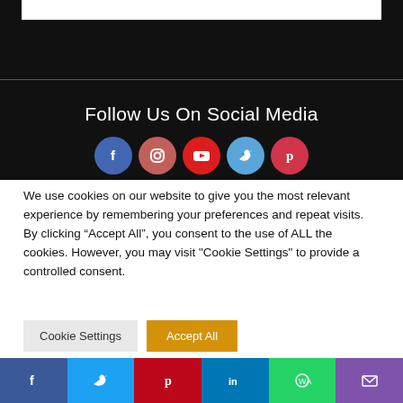[Figure (screenshot): Dark/black background area at top of page with a white rectangle bar visible at the top]
Follow Us On Social Media
[Figure (infographic): Five social media icon circles: Facebook (blue), Instagram (pinkish-red), YouTube (red), Twitter (light blue), Pinterest (red)]
We use cookies on our website to give you the most relevant experience by remembering your preferences and repeat visits. By clicking “Accept All”, you consent to the use of ALL the cookies. However, you may visit "Cookie Settings" to provide a controlled consent.
Cookie Settings  Accept All
Facebook  Twitter  Pinterest  LinkedIn  WhatsApp  Email